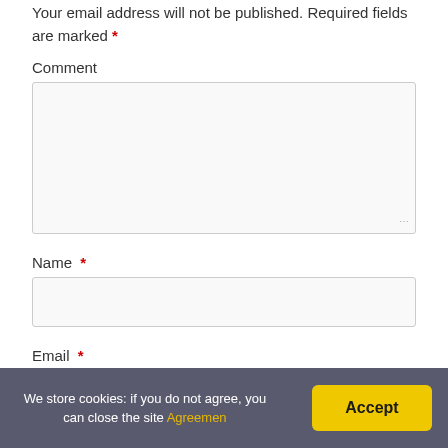Your email address will not be published. Required fields are marked *
Comment
[Figure (other): Empty comment textarea input box with resize handle]
Name *
[Figure (other): Empty name text input box]
Email *
[Figure (other): Partial email text input box]
We store cookies: if you do not agree, you can close the site Agreemen
Accept